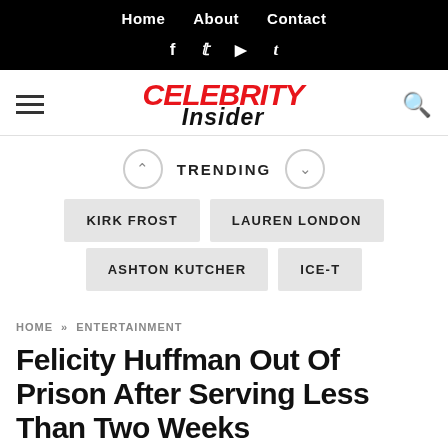Home  About  Contact
f  t  ▶  t
[Figure (logo): Celebrity Insider logo with red CELEBRITY text and black INSIDER italic text]
TRENDING
KIRK FROST
LAUREN LONDON
ASHTON KUTCHER
ICE-T
HOME » ENTERTAINMENT
Felicity Huffman Out Of Prison After Serving Less Than Two Weeks